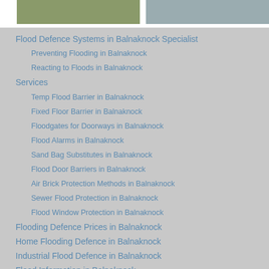[Figure (photo): Two partially visible outdoor/flood-related photos at the top of the page, side by side.]
Flood Defence Systems in Balnaknock Specialist
Preventing Flooding in Balnaknock
Reacting to Floods in Balnaknock
Services
Temp Flood Barrier in Balnaknock
Fixed Floor Barrier in Balnaknock
Floodgates for Doorways in Balnaknock
Flood Alarms in Balnaknock
Sand Bag Substitutes in Balnaknock
Flood Door Barriers in Balnaknock
Air Brick Protection Methods in Balnaknock
Sewer Flood Protection in Balnaknock
Flood Window Protection in Balnaknock
Flooding Defence Prices in Balnaknock
Home Flooding Defence in Balnaknock
Industrial Flood Defence in Balnaknock
Flood Information in Balnaknock
Flooding Cleanup Services in Balnaknock